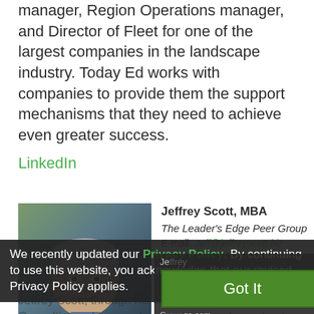manager, Region Operations manager, and Director of Fleet for one of the largest companies in the landscape industry. Today Ed works with companies to provide them the support mechanisms that they need to achieve even greater success.
LinkedIn
[Figure (photo): Headshot photo of a middle-aged man with short gray hair, smiling, wearing a dark suit]
Jeffrey Scott, MBA
The Leader's Edge Peer Group
E-mail: Jeff@jeffreyscott.biz
Phone 203.220.8931
Got It
We recently updated our Privacy Policy. By continuing to use this website, you acknowledge that our revised Privacy Policy applies.
Jeffrey Scott, through his company Jeffrey Scott Consulting, addresses burning issues, shares best